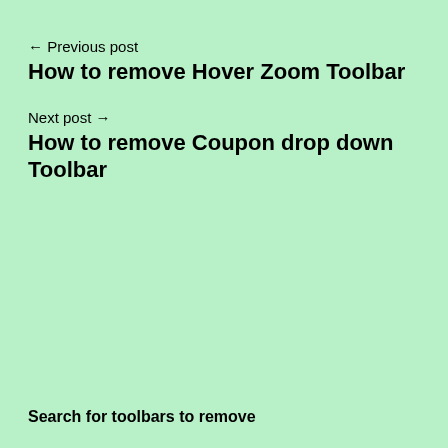← Previous post
How to remove Hover Zoom Toolbar
Next post →
How to remove Coupon drop down Toolbar
Search for toolbars to remove